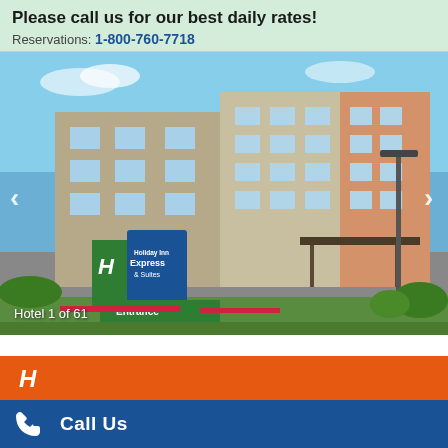Please call us for our best daily rates!
Reservations: 1-800-760-7718
[Figure (photo): Exterior photograph of a Holiday Inn Express & Suites hotel building with blue sky background, entrance sign visible in foreground, green lawn area.]
Hotel 1 of 61
Call Us